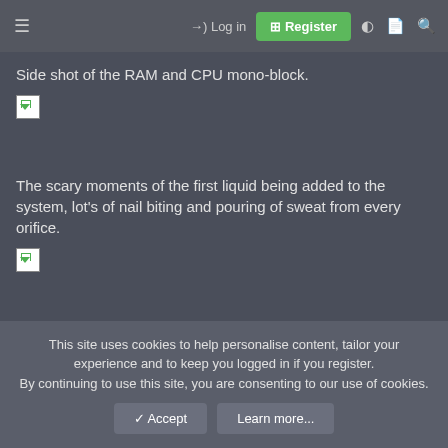≡  →) Log in  ⊞ Register
Side shot of the RAM and CPU mono-block.
[Figure (photo): Broken/missing image placeholder (side shot of RAM and CPU mono-block)]
The scary moments of the first liquid being added to the system, lot's of nail biting and pouring of sweat from every orifice.
[Figure (photo): Broken/missing image placeholder (liquid being added to system)]
Thankfully, the towels stayed dry and a serene calmness settled in over my soul. I could envision a million different places liquid
This site uses cookies to help personalise content, tailor your experience and to keep you logged in if you register.
By continuing to use this site, you are consenting to our use of cookies.